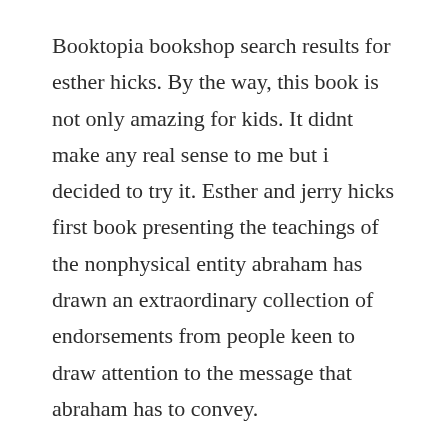Booktopia bookshop search results for esther hicks. By the way, this book is not only amazing for kids. It didnt make any real sense to me but i decided to try it. Esther and jerry hicks first book presenting the teachings of the nonphysical entity abraham has drawn an extraordinary collection of endorsements from people keen to draw attention to the message that abraham has to convey.
Esther hicks books list of books by author esther hicks. In this post, we are going to have a further look at some of the abraham hicks